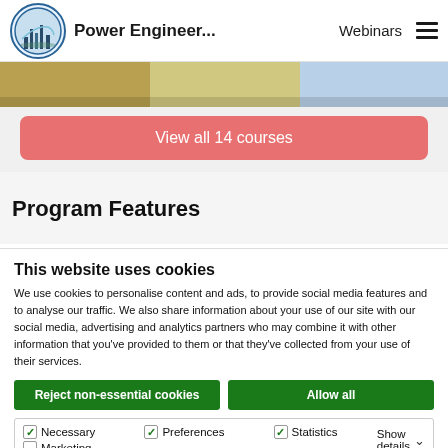Power Engineer... Webinars
[Figure (screenshot): Partial image strip showing industrial/laboratory scene]
View all 14 courses
Program Features
This website uses cookies
We use cookies to personalise content and ads, to provide social media features and to analyse our traffic. We also share information about your use of our site with our social media, advertising and analytics partners who may combine it with other information that you've provided to them or that they've collected from your use of their services.
Reject non-essential cookies   Allow all
Necessary  Preferences  Statistics  Marketing  Show details